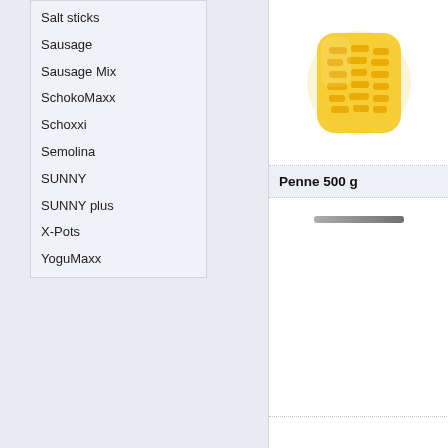Salt sticks
Sausage
Sausage Mix
SchokoMaxx
Schoxxi
Semolina
SUNNY
SUNNY plus
X-Pots
YoguMaxx
[Figure (photo): Packaged yellow pasta product (Penne) in a clear bag]
Penne 500 g